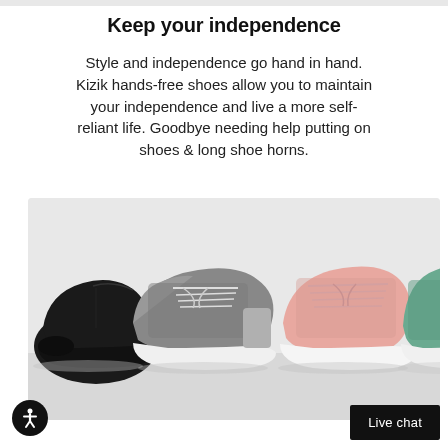Keep your independence
Style and independence go hand in hand. Kizik hands-free shoes allow you to maintain your independence and live a more self-reliant life. Goodbye needing help putting on shoes & long shoe horns.
[Figure (photo): Four Kizik sneakers lined up side by side: black, grey, pink, and teal/green colored hands-free shoes on a light grey background.]
Live chat